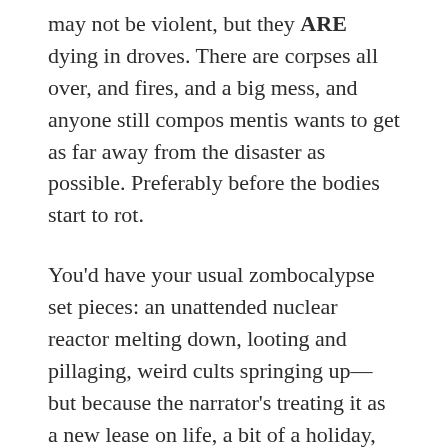may not be violent, but they ARE dying in droves. There are corpses all over, and fires, and a big mess, and anyone still compos mentis wants to get as far away from the disaster as possible. Preferably before the bodies start to rot.
You'd have your usual zombocalypse set pieces: an unattended nuclear reactor melting down, looting and pillaging, weird cults springing up—but because the narrator's treating it as a new lease on life, a bit of a holiday, even—the vibe's rather different. Light-hearted.
I'd imagine it ending with the old lady finding a family in her fellow survivors, starting a wee